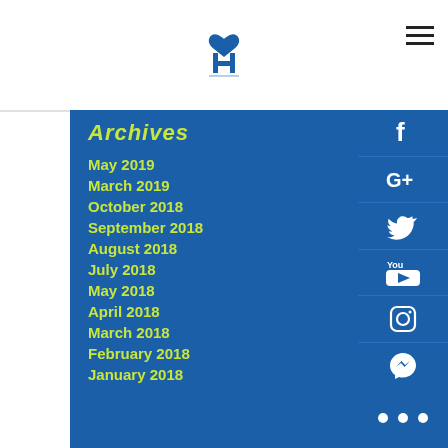[Figure (logo): Blue H logo with heart on top, site logo]
Archives
May 2019
March 2019
October 2018
September 2018
August 2018
July 2018
May 2018
April 2018
March 2018
February 2018
January 2018
[Figure (infographic): Social media icons column: Facebook, Google+, Twitter, YouTube, Instagram, Messenger, More (...)]